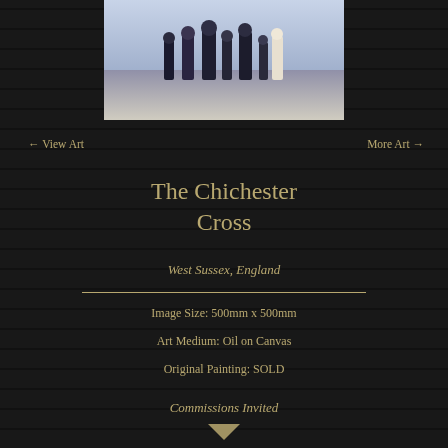[Figure (photo): Painting of figures at The Chichester Cross, West Sussex, England — people in dark coats in a town square scene]
← View Art
More Art →
The Chichester Cross
West Sussex, England
Image Size: 500mm x 500mm
Art Medium: Oil on Canvas
Original Painting: SOLD
Commissions Invited